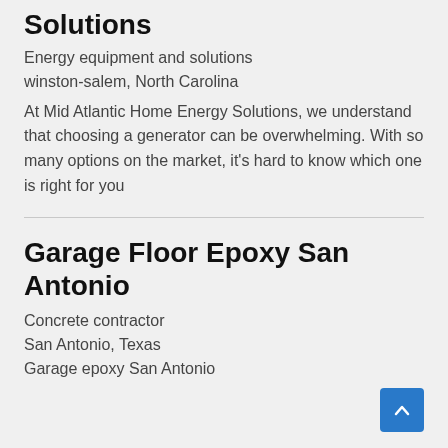Solutions
Energy equipment and solutions
winston-salem, North Carolina
At Mid Atlantic Home Energy Solutions, we understand that choosing a generator can be overwhelming. With so many options on the market, it's hard to know which one is right for you
Garage Floor Epoxy San Antonio
Concrete contractor
San Antonio, Texas
Garage epoxy San Antonio